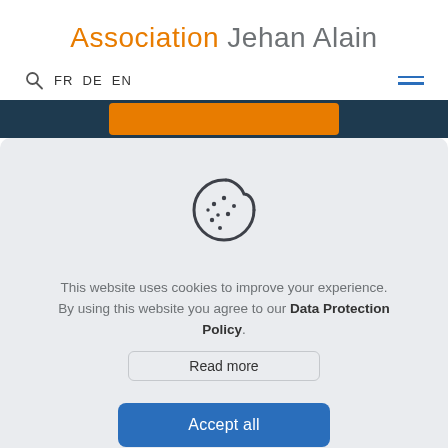Association Jehan Alain
FR DE EN
[Figure (illustration): Cookie icon — a round cookie with a bite taken out and dots on it]
This website uses cookies to improve your experience. By using this website you agree to our Data Protection Policy.
Read more
Accept all